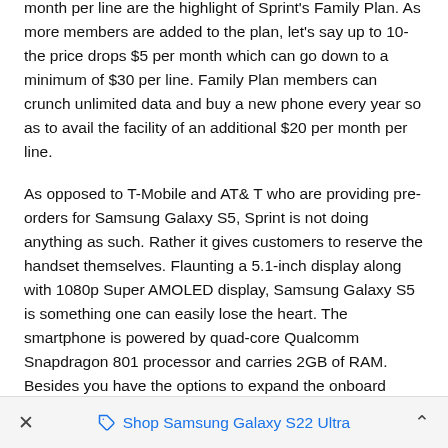month per line are the highlight of Sprint's Family Plan. As more members are added to the plan, let's say up to 10-the price drops $5 per month which can go down to a minimum of $30 per line. Family Plan members can crunch unlimited data and buy a new phone every year so as to avail the facility of an additional $20 per month per line.
As opposed to T-Mobile and AT& T who are providing pre-orders for Samsung Galaxy S5, Sprint is not doing anything as such. Rather it gives customers to reserve the handset themselves. Flaunting a 5.1-inch display along with 1080p Super AMOLED display, Samsung Galaxy S5 is something one can easily lose the heart. The smartphone is powered by quad-core Qualcomm Snapdragon 801 processor and carries 2GB of RAM. Besides you have the options to expand the onboard storage space via microSD cards of 16GB or 32GB and 64GB.
Shop Samsung Galaxy S22 Ultra